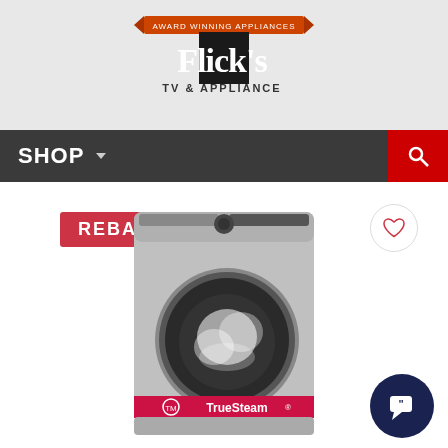[Figure (logo): Flick's TV & Appliance logo with orange banner at top and black diamond shape with white text]
SHOP
REBATE
[Figure (photo): LG TrueSteam front-loading washing machine in silver/graphite color, showing steam inside the drum, with a red TrueSteam branding strip at the bottom of the door]